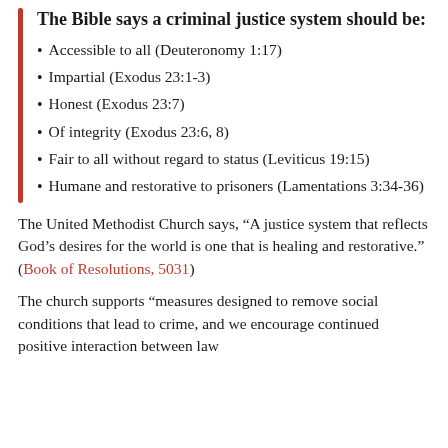The Bible says a criminal justice system should be:
Accessible to all (Deuteronomy 1:17)
Impartial (Exodus 23:1-3)
Honest (Exodus 23:7)
Of integrity (Exodus 23:6, 8)
Fair to all without regard to status (Leviticus 19:15)
Humane and restorative to prisoners (Lamentations 3:34-36)
The United Methodist Church says, “A justice system that reflects God’s desires for the world is one that is healing and restorative.” (Book of Resolutions, 5031)
The church supports “measures designed to remove social conditions that lead to crime, and we encourage continued positive interaction between law enforcement officials and members of the community.